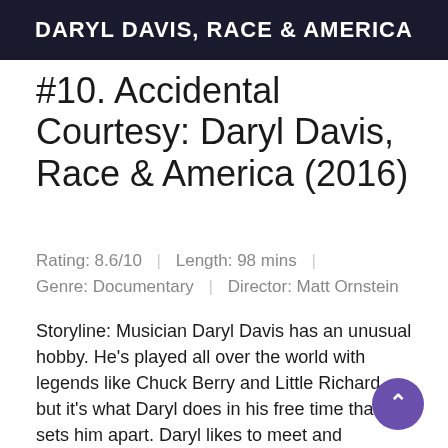[Figure (photo): Dark banner with American flag background showing text 'DARYL DAVIS, RACE & AMERICA' in white bold letters]
#10. Accidental Courtesy: Daryl Davis, Race & America (2016)
Rating: 8.6/10  |  Length: 98 mins  |  Genre: Documentary  |  Director: Matt Ornstein
Storyline: Musician Daryl Davis has an unusual hobby. He's played all over the world with legends like Chuck Berry and Little Richard, but it's what Daryl does in his free time that sets him apart. Daryl likes to meet and befriend members of the Ku Klux Klan -- something few black men can say. In his travels, he's collected rob and other artifacts from friends who have left the, building a collection piece by piece, story by story, in